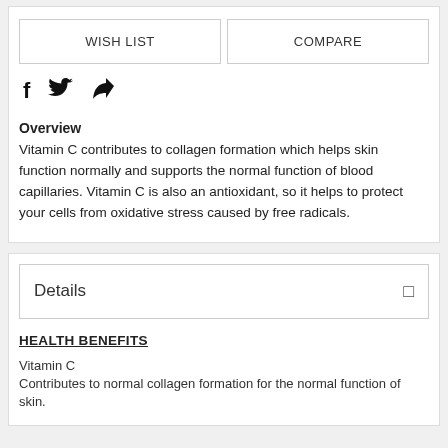WISH LIST
COMPARE
[Figure (other): Social sharing icons: Facebook (f), Twitter bird, and share/forward arrow]
Overview
Vitamin C contributes to collagen formation which helps skin function normally and supports the normal function of blood capillaries. Vitamin C is also an antioxidant, so it helps to protect your cells from oxidative stress caused by free radicals.
Details
HEALTH BENEFITS
Vitamin C
Contributes to normal collagen formation for the normal function of skin.